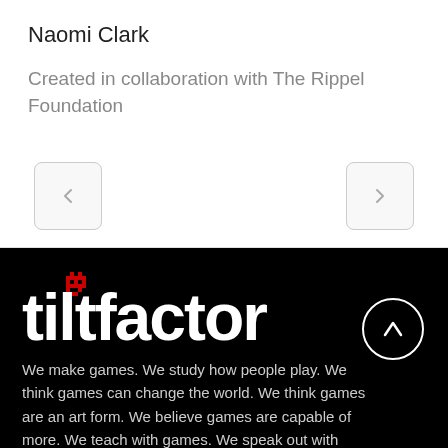Naomi Clark
Created in collaboration with The Rippel Foundation
[Figure (other): Left navigation arrow button (chevron < ) in a rounded rectangle border]
[Figure (other): Right navigation arrow button (chevron > ) in a rounded rectangle border]
[Figure (logo): Tiltfactor logo: white bold lowercase text 'tiltfactor' with a red pixel-art Space Invaders alien icon above the 'i' dot, on black background]
We make games. We study how people play. We think games can change the world. We think games are an art form. We believe games are capable of more. We teach with games. We speak out with games. We help people
[Figure (other): Circular scroll-to-top button with white upward arrow on black background]